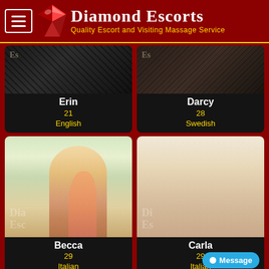[Figure (logo): Diamond Escorts logo with red gem diamond and text 'Diamond Escorts - Quality Escort and Visiting Massage Service']
[Figure (photo): Escort profile photo of Erin, age 21, English]
[Figure (photo): Escort profile photo of Darcy, age 28, Swedish]
[Figure (photo): Escort profile photo of Becca, age 29, Italian]
[Figure (photo): Escort profile photo of Carla, age 29, Italian]